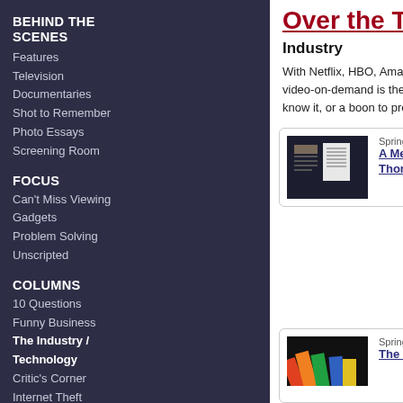BEHIND THE SCENES
Features
Television
Documentaries
Shot to Remember
Photo Essays
Screening Room
FOCUS
Can't Miss Viewing
Gadgets
Problem Solving
Unscripted
COLUMNS
10 Questions
Funny Business
The Industry / Technology
Critic's Corner
Internet Theft
Books
DVD Classics
In My Opinion
Out of the Past
Drawing Board
Crossword Puzzle
Over the Top
Industry
With Netflix, HBO, Amazon Prime, and many others t... video-on-demand is the new wave for content. But is... know it, or a boon to production? It's still too early to...
Spring 2020
A Message from President Thomas Schlamme
NYC... and... logis... happ...
Spring 2019
The Reality vs. the Hype